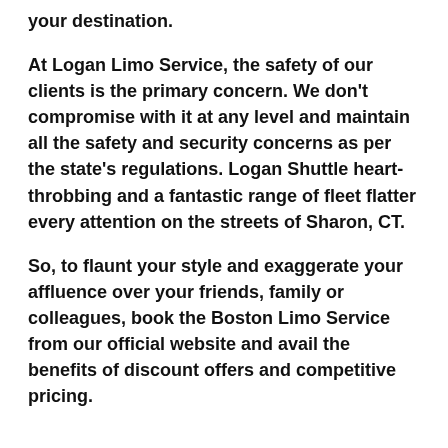your destination.
At Logan Limo Service, the safety of our clients is the primary concern. We don't compromise with it at any level and maintain all the safety and security concerns as per the state's regulations. Logan Shuttle heart-throbbing and a fantastic range of fleet flatter every attention on the streets of Sharon, CT.
So, to flaunt your style and exaggerate your affluence over your friends, family or colleagues, book the Boston Limo Service from our official website and avail the benefits of discount offers and competitive pricing.